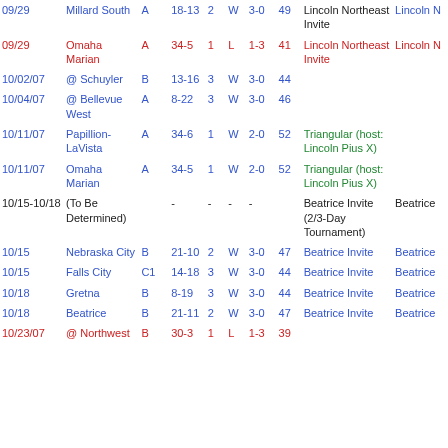| Date | Opponent | Level | Score | Sets | W/L | Record | Points | Tournament | Location |
| --- | --- | --- | --- | --- | --- | --- | --- | --- | --- |
| 09/29 | Millard South | A | 18-13 | 2 | W | 3-0 | 49 | Lincoln Northeast Invite | Lincoln N |
| 09/29 | Omaha Marian | A | 34-5 | 1 | L | 1-3 | 41 | Lincoln Northeast Invite | Lincoln N |
| 10/02/07 | @ Schuyler | B | 13-16 | 3 | W | 3-0 | 44 |  |  |
| 10/04/07 | @ Bellevue West | A | 8-22 | 3 | W | 3-0 | 46 |  |  |
| 10/11/07 | Papillion-LaVista | A | 34-6 | 1 | W | 2-0 | 52 | Triangular (host: Lincoln Pius X) |  |
| 10/11/07 | Omaha Marian | A | 34-5 | 1 | W | 2-0 | 52 | Triangular (host: Lincoln Pius X) |  |
| 10/15-10/18 | (To Be Determined) |  | - | - | - | - |  | Beatrice Invite (2/3-Day Tournament) | Beatrice |
| 10/15 | Nebraska City | B | 21-10 | 2 | W | 3-0 | 47 | Beatrice Invite | Beatrice |
| 10/15 | Falls City | C1 | 14-18 | 3 | W | 3-0 | 44 | Beatrice Invite | Beatrice |
| 10/18 | Gretna | B | 8-19 | 3 | W | 3-0 | 44 | Beatrice Invite | Beatrice |
| 10/18 | Beatrice | B | 21-11 | 2 | W | 3-0 | 47 | Beatrice Invite | Beatrice |
| 10/23/07 | @ Northwest | B | 30-3 | 1 | L | 1-3 | 39 |  |  |